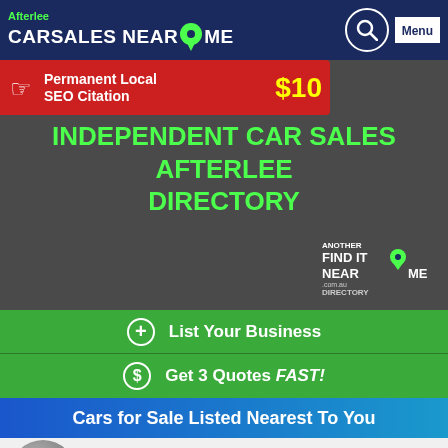Afterlee CARSALES NEAR ME
[Figure (screenshot): Promotional banner: Permanent Local SEO Citation $10]
INDEPENDENT CAR SALES AFTERLEE DIRECTORY
[Figure (logo): Another Find It Near Me .com.au Directory logo]
List Your Business
Get 3 Quotes FAST!
Cars for Sale Listed Nearest To You
79.7kms
[Figure (infographic): Star rating display (5 empty stars)]